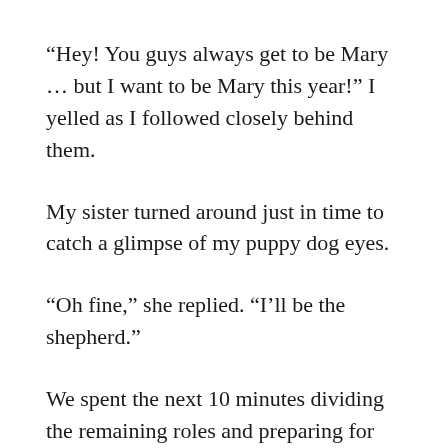“Hey! You guys always get to be Mary … but I want to be Mary this year!” I yelled as I followed closely behind them.
My sister turned around just in time to catch a glimpse of my puppy dog eyes.
“Oh fine,” she replied. “I’ll be the shepherd.”
We spent the next 10 minutes dividing the remaining roles and preparing for our big curtain call. Then it was lights, camera, action. Time for the grandkids to act out the story of the birth of Jesus for the whole family to see. And for a grand finale, my gramma would bring out the “Happy Birthday Jesus” cake, thoughtfully